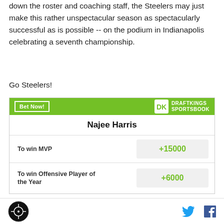down the roster and coaching staff, the Steelers may just make this rather unspectacular season as spectacularly successful as is possible -- on the podium in Indianapolis celebrating a seventh championship.
Go Steelers!
|  |  |
| --- | --- |
| Najee Harris |  |
| To win MVP | +15000 |
| To win Offensive Player of the Year | +6000 |